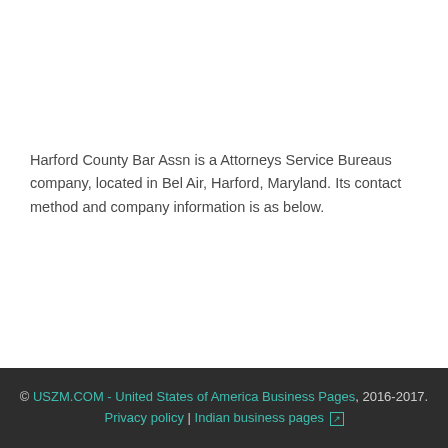Harford County Bar Assn is a Attorneys Service Bureaus company, located in Bel Air, Harford, Maryland. Its contact method and company information is as below.
© USZM.COM - United States of America Business Pages, 2016-2017. Privacy policy | Indian business pages ↗